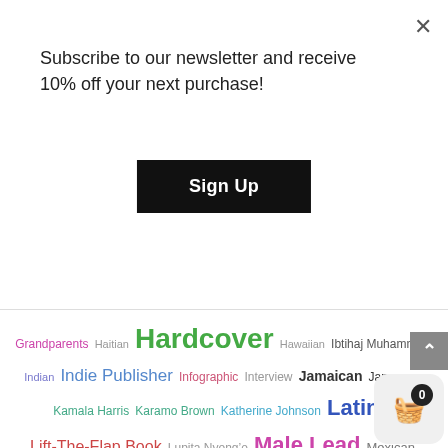Subscribe to our newsletter and receive 10% off your next purchase!
Sign Up
Grandparents Haitian Hardcover Hawaiian Ibtihaj Muhammad Indian Indie Publisher Infographic Interview Jamaican Japanese Kamala Harris Karamo Brown Katherine Johnson Latinx Lift-The-Flap Book Lupita Nyong'o Male Lead Mexican Mixed Race Mother-Daughter Mother-Son Music Muslim Nature Nneka Myers Notable POC Nuclear Family Pacific Islander Pakistani Paperback Pediatric Cancer Pregnancy Puerto Rican Religious Resources Selena Self-Published Siblings Sisters Sonia Sotomayor South Asian Spanish Spanish Edition Spanish Immersion Camp STEM Taye Diggs Textured Hair Tibetan Twins Vashti Harrison Venezuelan Venus & Serena Williams Vitiligo Working